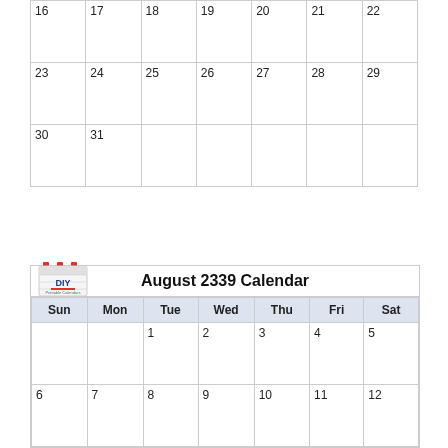| Sun | Mon | Tue | Wed | Thu | Fri | Sat |
| --- | --- | --- | --- | --- | --- | --- |
| 16 | 17 | 18 | 19 | 20 | 21 | 22 |
| 23 | 24 | 25 | 26 | 27 | 28 | 29 |
| 30 | 31 |  |  |  |  |  |
August 2339 Calendar
| Sun | Mon | Tue | Wed | Thu | Fri | Sat |
| --- | --- | --- | --- | --- | --- | --- |
|  |  | 1 | 2 | 3 | 4 | 5 |
| 6 | 7 | 8 | 9 | 10 | 11 | 12 |